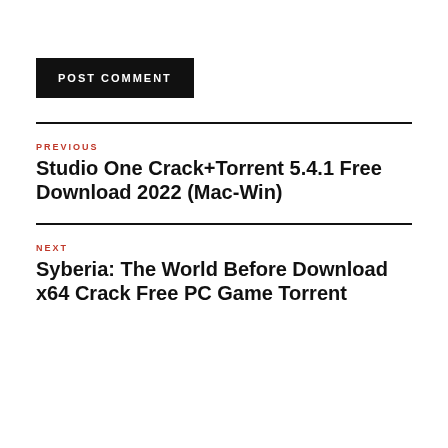POST COMMENT
PREVIOUS
Studio One Crack+Torrent 5.4.1 Free Download 2022 (Mac-Win)
NEXT
Syberia: The World Before Download x64 Crack Free PC Game Torrent